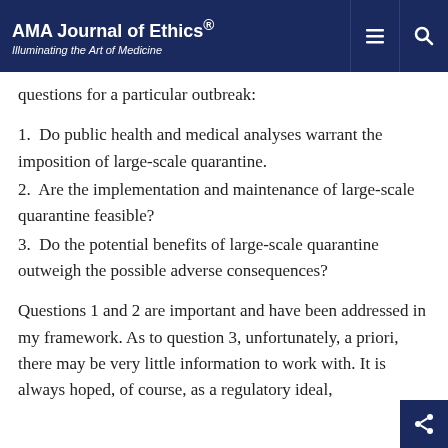AMA Journal of Ethics® Illuminating the Art of Medicine
cause harm. This is no doubt true. They do point out that there are several issues that need to be addressed, and they pose 3 major questions for a particular outbreak:
1.  Do public health and medical analyses warrant the imposition of large-scale quarantine.
2.  Are the implementation and maintenance of large-scale quarantine feasible?
3.  Do the potential benefits of large-scale quarantine outweigh the possible adverse consequences?
Questions 1 and 2 are important and have been addressed in my framework. As to question 3, unfortunately, a priori, there may be very little information to work with. It is always hoped, of course, as a regulatory ideal,